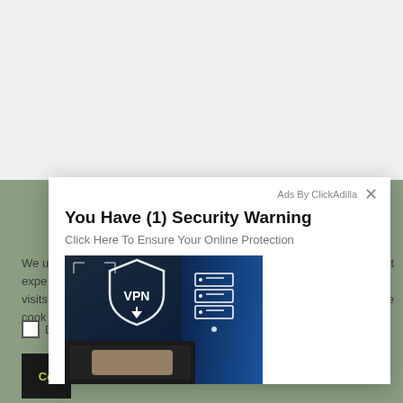[Figure (screenshot): Screenshot of a webpage with a light gray background on top half and muted green background on bottom half, partially obscured by an advertising modal popup]
Ads By ClickAdilla
You Have (1) Security Warning
Click Here To Ensure Your Online Protection
[Figure (photo): Photo of a person's hands typing on a laptop keyboard with a VPN shield and server icons displayed in blue digital overlay]